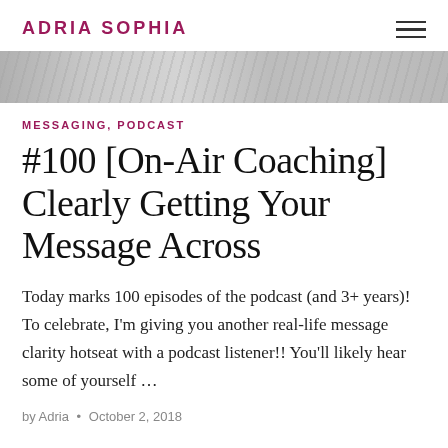ADRIA SOPHIA
[Figure (photo): Decorative marble or stone texture banner image in grayscale]
MESSAGING, PODCAST
#100 [On-Air Coaching] Clearly Getting Your Message Across
Today marks 100 episodes of the podcast (and 3+ years)! To celebrate, I'm giving you another real-life message clarity hotseat with a podcast listener!! You'll likely hear some of yourself …
by Adria • October 2, 2018